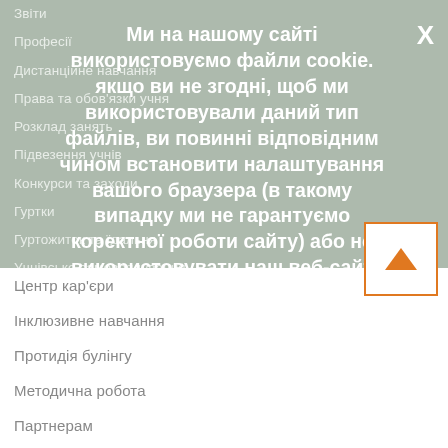Звіти
Професії
Дистанційне навчання
Права та обов'язки учня
Розклад занять
Підвезення учнів
Конкурси та заходи
Гуртки
Гуртожиток та їдальня
Учнівське самоврядування
Ми на нашому сайті використовуємо файли cookie. якщо ви не згодні, щоб ми використовували даний тип файлів, ви повинні відповідним чином встановити налаштування вашого браузера (в такому випадку ми не гарантуємо коректної роботи сайту) або не використовувати наш веб-сайт
Центр кар'єри
Інклюзивне навчання
Протидія булінгу
Методична робота
Партнерам
Матеріально-технічне забезпечення
Історії з життя учнів та вчителів